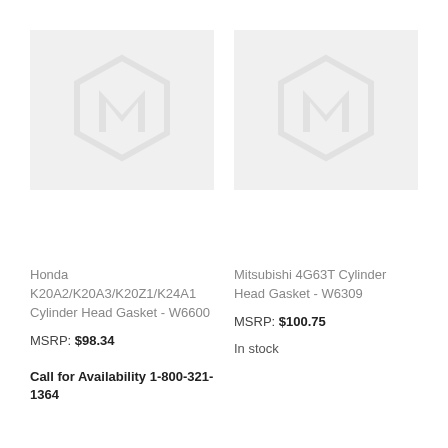[Figure (logo): Placeholder product image with Magento-style logo watermark, light gray background]
[Figure (logo): Placeholder product image with Magento-style logo watermark, light gray background]
Honda K20A2/K20A3/K20Z1/K24A1 Cylinder Head Gasket - W6600
MSRP: $98.34
Call for Availability 1-800-321-1364
Mitsubishi 4G63T Cylinder Head Gasket - W6309
MSRP: $100.75
In stock